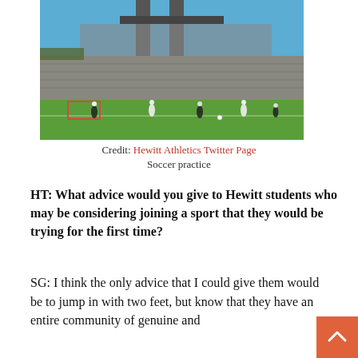[Figure (photo): Soccer practice on a field with players in action, a large stone or concrete stadium structure in the background and a bridge tower visible above it. Sky is clear blue.]
Credit: Hewitt Athletics Twitter Page
Soccer practice
HT: What advice would you give to Hewitt students who may be considering joining a sport that they would be trying for the first time?
SG: I think the only advice that I could give them would be to jump in with two feet, but know that they have an entire community of genuine and